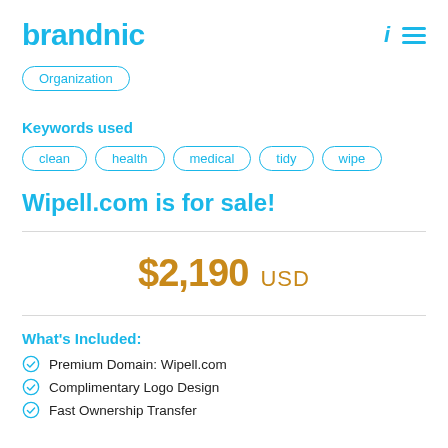brandnic
Organization
Keywords used
clean
health
medical
tidy
wipe
Wipell.com is for sale!
$2,190 USD
What's Included:
Premium Domain: Wipell.com
Complimentary Logo Design
Fast Ownership Transfer